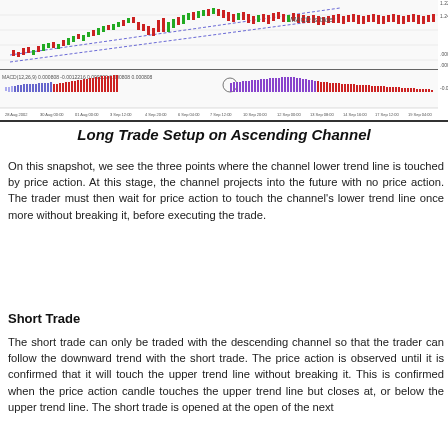[Figure (screenshot): Trading chart screenshot showing ascending channel with candlestick price action and MACD histogram indicator below. Chart displays dates from 28 Aug 2002 to 15 Sep. MACD is blue label visible. Candlestick chart shows upward channel with dashed trend lines. MACD panel shows histogram bars in blue/red/purple colors.]
Long Trade Setup on Ascending Channel
On this snapshot, we see the three points where the channel lower trend line is touched by price action. At this stage, the channel projects into the future with no price action. The trader must then wait for price action to touch the channel's lower trend line once more without breaking it, before executing the trade.
Short Trade
The short trade can only be traded with the descending channel so that the trader can follow the downward trend with the short trade. The price action is observed until it is confirmed that it will touch the upper trend line without breaking it. This is confirmed when the price action candle touches the upper trend line but closes at, or below the upper trend line. The short trade is opened at the open of the next